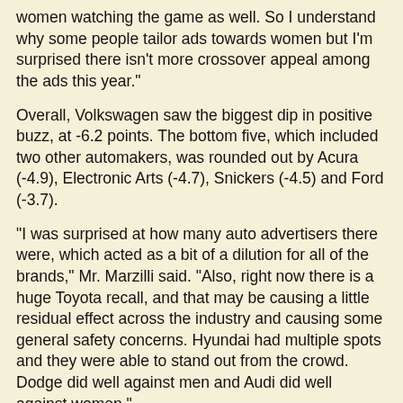women watching the game as well. So I understand why some people tailor ads towards women but I'm surprised there isn't more crossover appeal among the ads this year."
Overall, Volkswagen saw the biggest dip in positive buzz, at -6.2 points. The bottom five, which included two other automakers, was rounded out by Acura (-4.9), Electronic Arts (-4.7), Snickers (-4.5) and Ford (-3.7).
"I was surprised at how many auto advertisers there were, which acted as a bit of a dilution for all of the brands," Mr. Marzilli said. "Also, right now there is a huge Toyota recall, and that may be causing a little residual effect across the industry and causing some general safety concerns. Hyundai had multiple spots and they were able to stand out from the crowd. Dodge did well against men and Audi did well against women."
Still worth it
In spite of the negative buzz some brands experience after the game, Mr. Marzilli still feels the Super Bowl is worth the money advertisers shell out for a 30-second spot.